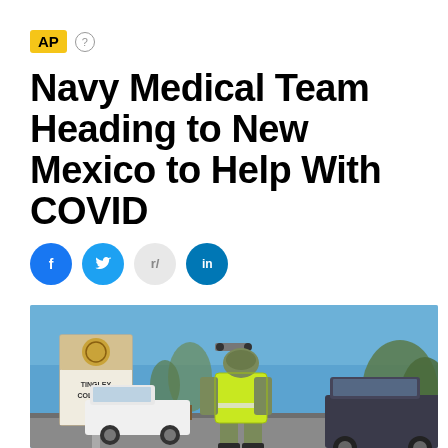AP
Navy Medical Team Heading to New Mexico to Help With COVID
[Figure (other): Social media share buttons: Facebook, Twitter, Reddit, LinkedIn]
[Figure (photo): A person in military camouflage uniform and a yellow high-visibility vest stands with their back to the camera in a parking lot outside Tingley Coliseum, with trees and a blue sky in the background.]